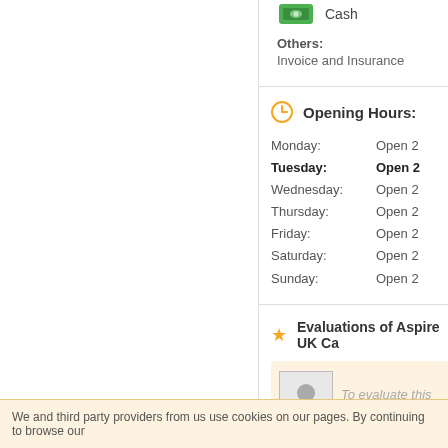Cash
Others:
Invoice and Insurance
Opening Hours:
Monday: Open 2
Tuesday: Open 2
Wednesday: Open 2
Thursday: Open 2
Friday: Open 2
Saturday: Open 2
Sunday: Open 2
Evaluations of Aspire UK Ca
To evaluate this co
We and third party providers from us use cookies on our pages. By continuing to browse our